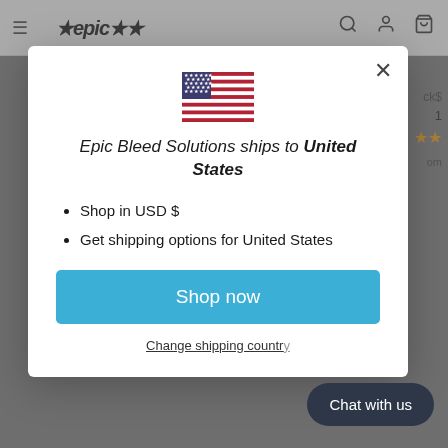[Figure (screenshot): Website modal popup for Epic Bleed Solutions showing USA flag, shipping information for United States, bullet points for USD shopping and shipping options, a 'Shop now' button, and a 'Change shipping country' link. Background shows a blurred e-commerce website. A 'Chat with us' button appears in the bottom right corner.]
Epic Bleed Solutions ships to United States
Shop in USD $
Get shipping options for United States
Shop now
Change shipping country
Chat with us